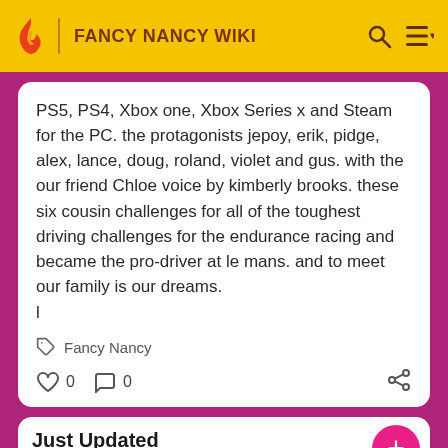FANCY NANCY WIKI
PS5, PS4, Xbox one, Xbox Series x and Steam for the PC. the protagonists jepoy, erik, pidge, alex, lance, doug, roland, violet and gus. with the our friend Chloe voice by kimberly brooks. these six cousin challenges for all of the toughest driving challenges for the endurance racing and became the pro-driver at le mans. and to meet our family is our dreams.
l
Fancy Nancy
0  0
Just Updated